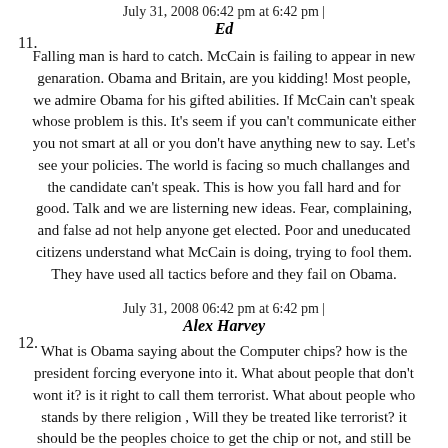July 31, 2008 06:42 pm at 6:42 pm |
Ed
Falling man is hard to catch. McCain is failing to appear in new genaration. Obama and Britain, are you kidding! Most people, we admire Obama for his gifted abilities. If McCain can't speak whose problem is this. It's seem if you can't communicate either you not smart at all or you don't have anything new to say. Let's see your policies. The world is facing so much challanges and the candidate can't speak. This is how you fall hard and for good. Talk and we are listerning new ideas. Fear, complaining, and false ad not help anyone get elected. Poor and uneducated citizens understand what McCain is doing, trying to fool them. They have used all tactics before and they fail on Obama.
July 31, 2008 06:42 pm at 6:42 pm |
Alex Harvey
What is Obama saying about the Computer chips? how is the president forcing everyone into it. What about people that don't wont it? is it right to call them terrorist. What about people who stands by there religion , Will they be treated like terrorist? it should be the peoples choice to get the chip or not, and still be able to live and work in the USA, or any